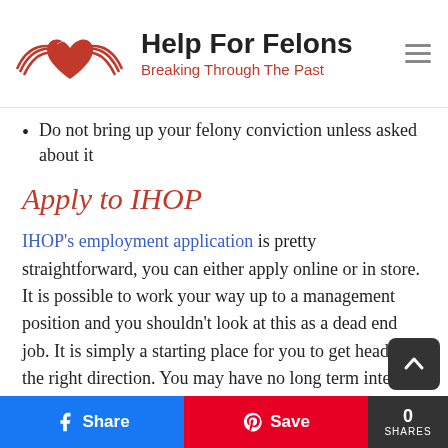[Figure (logo): Help For Felons logo: red heart/hands shape with 'Help For Felons' in bold black and 'Breaking Through The Past' in red below]
Do not bring up your felony conviction unless asked about it
Apply to IHOP
IHOP's employment application is pretty straightforward, you can either apply online or in store. It is possible to work your way up to a management position and you shouldn't look at this as a dead end job. It is simply a starting place for you to get headed in the right direction. You may have no long term interest in working for IHOP or working your way up but you can always look for something better. To view current job openings at IHOP click here but it may be best to visit your